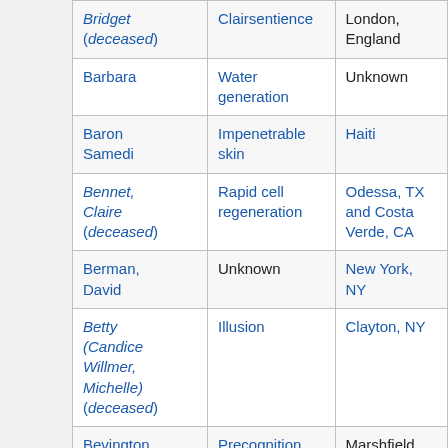| Character | Ability | Location |
| --- | --- | --- |
| Bridget (deceased) | Clairsentience | London, England |
| Barbara | Water generation | Unknown |
| Baron Samedi | Impenetrable skin | Haiti |
| Bennet, Claire (deceased) | Rapid cell regeneration | Odessa, TX and Costa Verde, CA |
| Berman, David | Unknown | New York, NY |
| Betty (Candice Willmer, Michelle) (deceased) | Illusion | Clayton, NY |
| Bevington, | Precognition | Marshfield, |